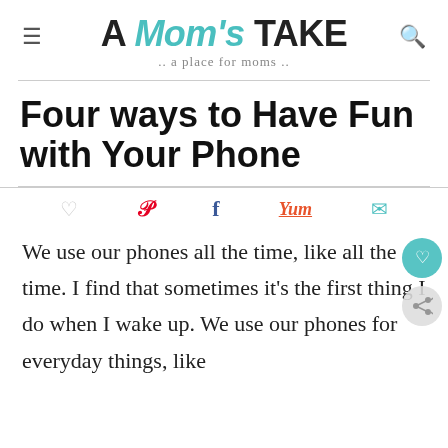A Mom's TAKE .. a place for moms ..
Four ways to Have Fun with Your Phone
[Figure (infographic): Social sharing bar with icons: heart (like), Pinterest P, Facebook f, Yummly Yum, envelope (email)]
We use our phones all the time, like all the time. I find that sometimes it's the first thing I do when I wake up. We use our phones for everyday things, like